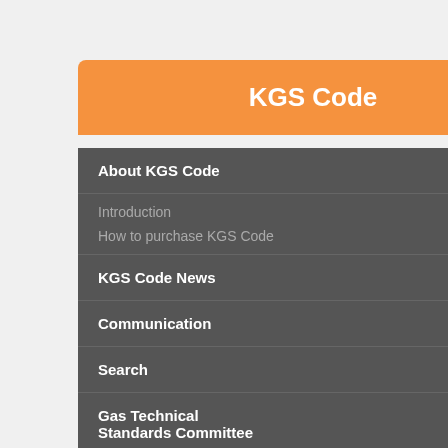KGS Code
About KGS Code
Introduction
How to purchase KGS Code
KGS Code News
Communication
Search
Gas Technical Standards Committee
| Code | Description |
| --- | --- |
| AC114 | Code |
| AC112 | Code ipme |
| AA914 | Code inder |
| AA111 | Code |
| AC111 | Code essur |
| AA911 | Code |
| AC115 | Code |
| AC118 | Code ssed |
| AA212 | Code es |
| AA213 | Code |